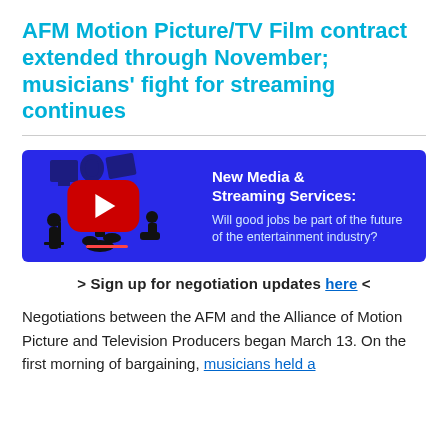AFM Motion Picture/TV Film contract extended through November; musicians' fight for streaming continues
[Figure (other): Blue banner with YouTube-style play button, musician silhouettes on left, text on right: 'New Media & Streaming Services: Will good jobs be part of the future of the entertainment industry?']
> Sign up for negotiation updates here <
Negotiations between the AFM and the Alliance of Motion Picture and Television Producers began March 13. On the first morning of bargaining, musicians held a